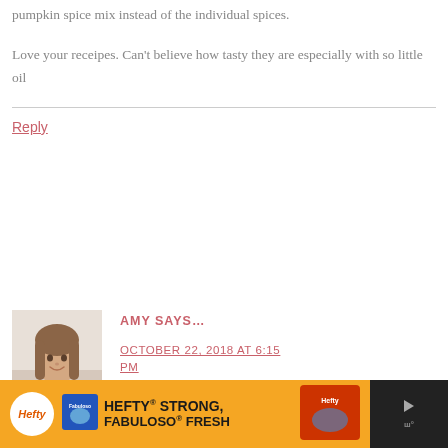pumpkin spice mix instead of the individual spices.
Love your receipes. Can't believe how tasty they are especially with so little oil
Reply
AMY SAYS...
OCTOBER 22, 2018 AT 6:15 PM
[Figure (photo): Profile photo of a young woman with long brown hair, smiling]
[Figure (photo): Hefty STRONG FABULOSO FRESH advertisement banner at bottom of page]